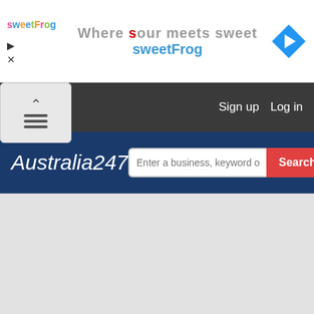[Figure (screenshot): SweetFrog advertisement banner with logo, brand name, and navigation arrow icon]
[Figure (screenshot): Dark navigation bar with Sign up and Log in links, and a collapsible menu button]
[Figure (screenshot): Australia247 website header with site logo and search bar with Search button]
[Figure (screenshot): Empty grey main content area]